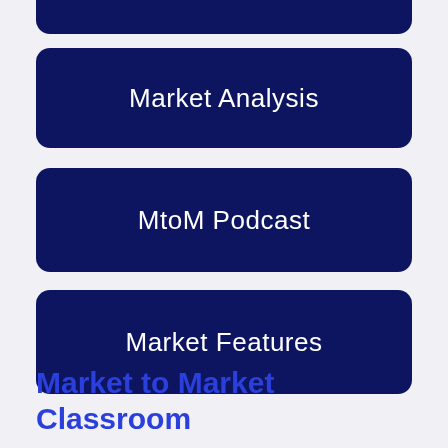[Figure (other): Partial dark navy rounded button at top of page (cropped)]
Market Analysis
MtoM Podcast
Market Features
Market to Market Classroom